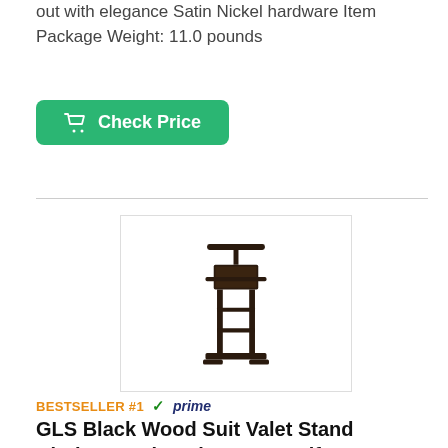out with elegance Satin Nickel hardware Item Package Weight: 11.0 pounds
[Figure (other): Green 'Check Price' button with shopping cart icon]
[Figure (photo): Black wood suit valet stand clothes rack product photo]
BESTSELLER #1 ✓prime
GLS Black Wood Suit Valet Stand Clothes Rack Father's Day Gift